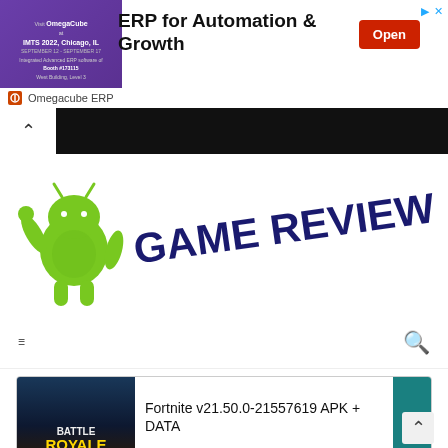[Figure (screenshot): Advertisement banner for Omegacube ERP with purple event image on left, 'ERP for Automation & Growth' text, and red Open button]
ERP for Automation & Growth
Open
Omegacube ERP
[Figure (illustration): Green Android mascot character with GAME REVIEW text in dark navy at an angle]
≡
🔍
Fortnite v21.50.0-21557619 APK + DATA